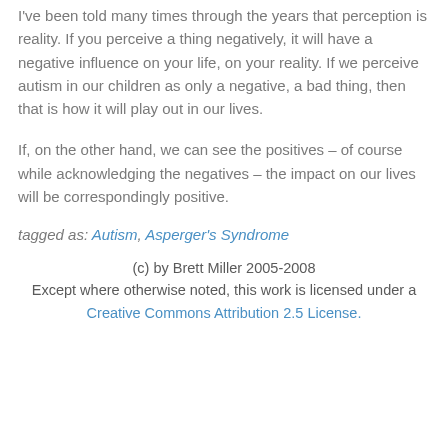I've been told many times through the years that perception is reality.  If you perceive a thing negatively, it will have a negative influence on your life, on your reality.  If we perceive autism in our children as only a negative, a bad thing, then that is how it will play out in our lives.
If, on the other hand, we can see the positives – of course while acknowledging the negatives – the impact on our lives will be correspondingly positive.
tagged as: Autism, Asperger's Syndrome
(c) by Brett Miller 2005-2008
Except where otherwise noted, this work is licensed under a
Creative Commons Attribution 2.5 License.